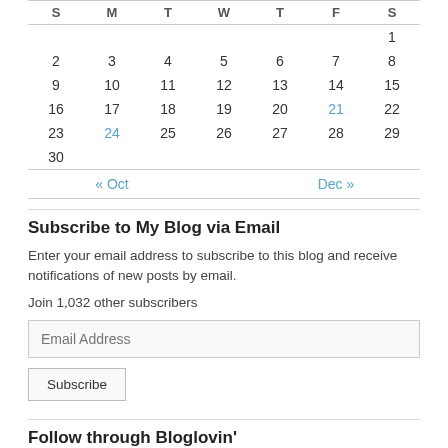| S | M | T | W | T | F | S |
| --- | --- | --- | --- | --- | --- | --- |
|  |  |  |  |  |  | 1 |
| 2 | 3 | 4 | 5 | 6 | 7 | 8 |
| 9 | 10 | 11 | 12 | 13 | 14 | 15 |
| 16 | 17 | 18 | 19 | 20 | 21 | 22 |
| 23 | 24 | 25 | 26 | 27 | 28 | 29 |
| 30 |  |  |  |  |  |  |
| « Oct |  |  |  |  | Dec » |  |
Subscribe to My Blog via Email
Enter your email address to subscribe to this blog and receive notifications of new posts by email.
Join 1,032 other subscribers
Follow through Bloglovin'